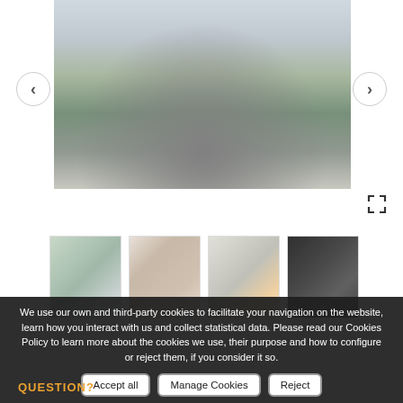[Figure (photo): Street view photo of a Mediterranean-style town with white buildings, palm trees, roundabout, and road. Navigation arrows on left and right sides.]
[Figure (photo): Thumbnail 1: White apartment buildings with greenery]
[Figure (photo): Thumbnail 2: White building facade with red awning]
[Figure (photo): Thumbnail 3: Interior or entrance with signage]
[Figure (photo): Thumbnail 4: Dark staircase interior]
We use our own and third-party cookies to facilitate your navigation on the website, learn how you interact with us and collect statistical data. Please read our Cookies Policy to learn more about the cookies we use, their purpose and how to configure or reject them, if you consider it so.
Accept all
Manage Cookies
Reject
QUESTION?